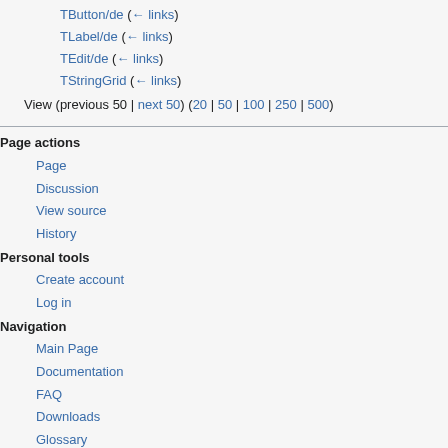TButton/de  (← links)
TLabel/de  (← links)
TEdit/de  (← links)
TStringGrid  (← links)
View (previous 50 | next 50) (20 | 50 | 100 | 250 | 500)
Page actions
Page
Discussion
View source
History
Personal tools
Create account
Log in
Navigation
Main Page
Documentation
FAQ
Downloads
Glossary
Index
Recent changes
Random page
Help
Tools
Special pages